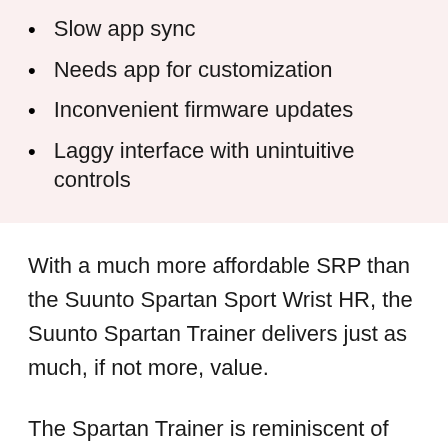Slow app sync
Needs app for customization
Inconvenient firmware updates
Laggy interface with unintuitive controls
With a much more affordable SRP than the Suunto Spartan Sport Wrist HR, the Suunto Spartan Trainer delivers just as much, if not more, value.
The Spartan Trainer is reminiscent of the Sport Wrist HR when it comes to design, just a bit more toned down. It still looks very sporty,